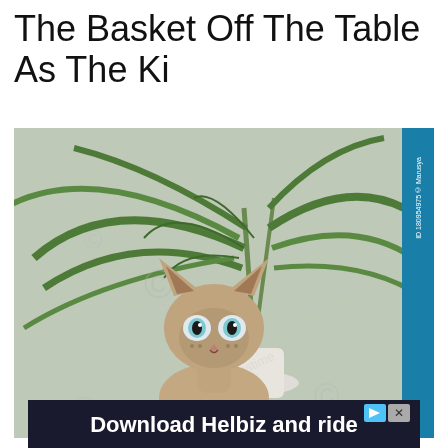The Basket Off The Table As The Ki
[Figure (photo): A hairless Sphynx cat with wide blue eyes peering through large tropical palm plant leaves, positioned in front of a bright window with a white pot visible. Stock photo with dreamstime watermark. ID 180954975 © Marusya. Blue sidebar on right edge.]
[Figure (screenshot): Advertisement banner for Helbiz. Dark background with white bold text 'Download Helbiz and ride'. Small blue play icon and X close button in top right corner.]